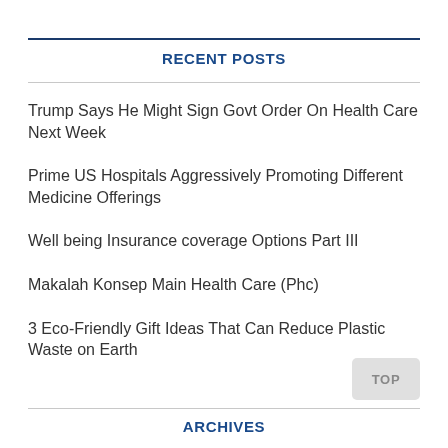RECENT POSTS
Trump Says He Might Sign Govt Order On Health Care Next Week
Prime US Hospitals Aggressively Promoting Different Medicine Offerings
Well being Insurance coverage Options Part III
Makalah Konsep Main Health Care (Phc)
3 Eco-Friendly Gift Ideas That Can Reduce Plastic Waste on Earth
ARCHIVES